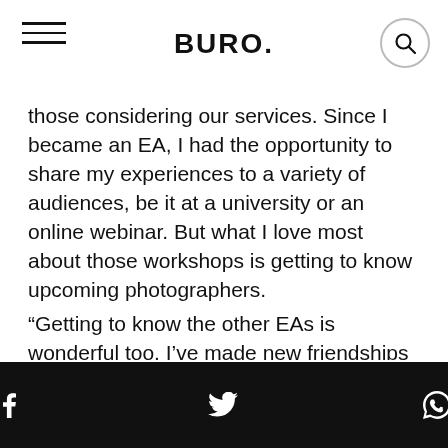BURO.
those considering our services. Since I became an EA, I had the opportunity to share my experiences to a variety of audiences, be it at a university or an online webinar. But what I love most about those workshops is getting to know upcoming photographers.
“Getting to know the other EAs is wonderful too. I’ve made new friendships and strengthened old ones. On top of that, I get to test out new cameras and lenses once they’re launched; and if I ever need additional equipment for a shoot, Canon has my back. I also use Canon printers for my client's prints, and the output has certainly proved that the quality is superior to my clients a…